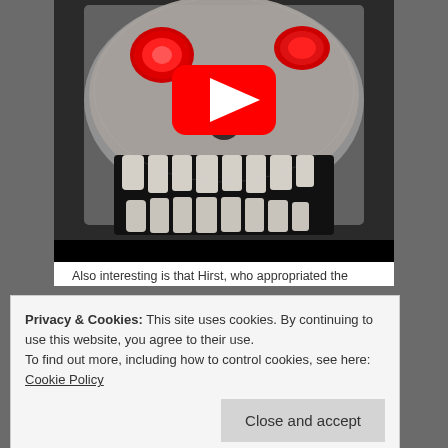[Figure (photo): A close-up photo of a jeweled/crystal-encrusted skull with red gem eyes and visible teeth, showing a YouTube play button overlay in the center. The skull is covered in diamonds or rhinestones and has a dark black mouth/jawbone area.]
Also interesting is that Hirst, who appropriated the
Privacy & Cookies: This site uses cookies. By continuing to use this website, you agree to their use.
To find out more, including how to control cookies, see here: Cookie Policy
Close and accept
partner-investors in the "For the Love of God"